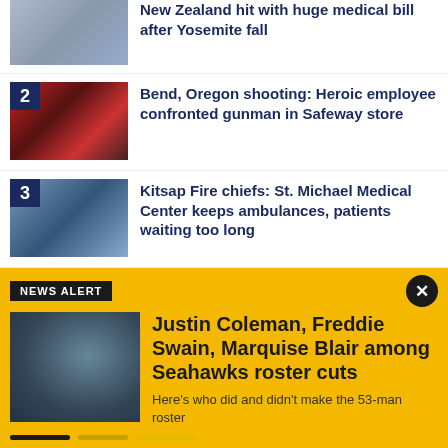New Zealand hit with huge medical bill after Yosemite fall
2 - Bend, Oregon shooting: Heroic employee confronted gunman in Safeway store
3 - Kitsap Fire chiefs: St. Michael Medical Center keeps ambulances, patients waiting too long
NEWS ALERT
Justin Coleman, Freddie Swain, Marquise Blair among Seahawks roster cuts
Here's who did and didn't make the 53-man roster